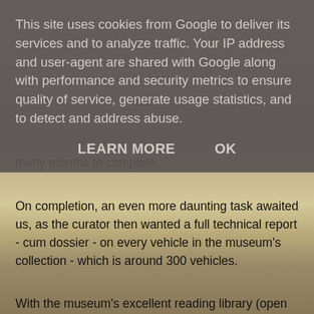[Figure (photo): Background photo of a modern museum building with mountains in the background, visible behind the cookie consent overlay and text content.]
This site uses cookies from Google to deliver its services and to analyze traffic. Your IP address and user-agent are shared with Google along with performance and security metrics to ensure quality of service, generate usage statistics, and to detect and address abuse.
LEARN MORE    OK
many months to complete.
On completion, an even more daunting task awaited us, as the curator then wanted a full technical report - cum dossier - on every vehicle in the museum's collection - which is around 300 vehicles.
With the museum's excellent reading library (open to the public) and vast archive section (not open to the public - see below) all the information we required on the vehicles was there. Somewhere! What quickly became apparent was that information on any standard, non prototype, vehicle from around 1948 to the present was not too hard to come by. Most of the information was obtainable from vehicle and road